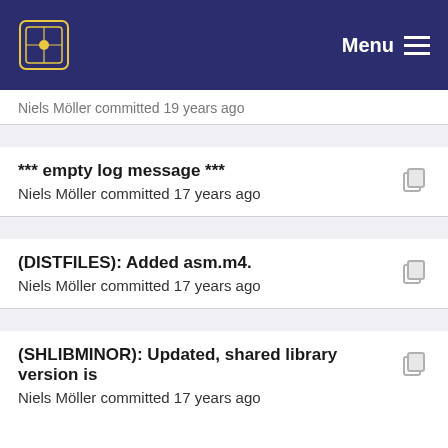Menu
Niels Möller committed 19 years ago
*** empty log message ***
Niels Möller committed 17 years ago
(DISTFILES): Added asm.m4.
Niels Möller committed 17 years ago
(SHLIBMINOR): Updated, shared library version is
Niels Möller committed 17 years ago
(DISTFILES): Added asm.m4.
Niels Möller committed 17 years ago
* configure.ac: Replaced AC_OUTPUT(list...) with ...
Niels Möller committed 17 years ago
(SHLIBMINOR): Updated, shared library version is